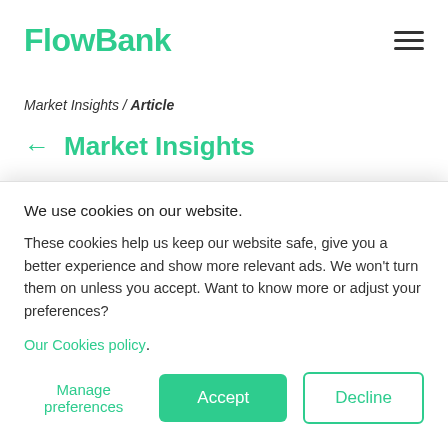FlowBank
Market Insights / Article
← Market Insights
WEEK AHEAD: Non-farm
We use cookies on our website.
These cookies help us keep our website safe, give you a better experience and show more relevant ads. We won't turn them on unless you accept. Want to know more or adjust your preferences?
Our Cookies policy.
Manage preferences | Accept | Decline